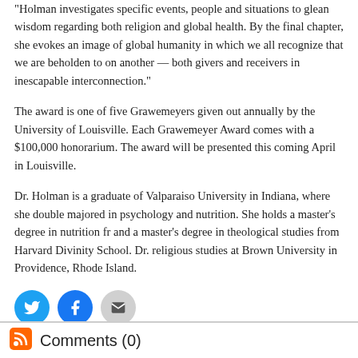“Holman investigates specific events, people and situations to glean wisdom regarding both religion and global health. By the final chapter, she evokes an image of global humanity in which we all recognize that we are beholden to one another — both givers and receivers in inescapable interconnection.”
The award is one of five Grawemeyers given out annually by the University of Louisville. Each Grawemeyer Award comes with a $100,000 honorarium. The award will be presented this coming April in Louisville.
Dr. Holman is a graduate of Valparaiso University in Indiana, where she double-majored in psychology and nutrition. She holds a master’s degree in nutrition from and a master’s degree in theological studies from Harvard Divinity School. Dr. religious studies at Brown University in Providence, Rhode Island.
[Figure (other): Social sharing icons: Twitter (blue circle), Facebook (blue circle), Email (gray circle)]
Filed Under: Awards
Tags: Brown University • Harvard University • Tufts University • University University
Comments (0)